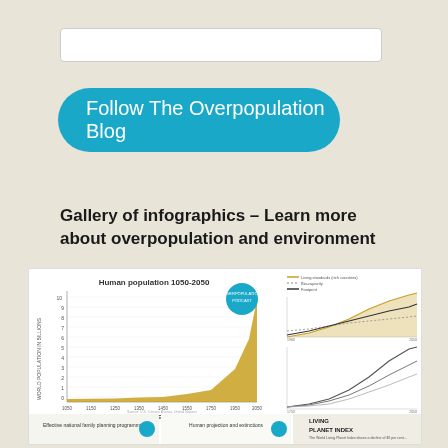[Figure (other): Search bar input field, white rectangle with border]
[Figure (other): Blue rounded button with text 'Follow The Overpopulation Blog']
Gallery of infographics – Learn more about overpopulation and environment
[Figure (infographic): Composite infographic panel showing multiple charts: Human population 1050-2050 area chart in gold/yellow color showing exponential growth, and adjacent line charts on the right side, plus smaller thumbnails at the bottom including Living Planet Index]